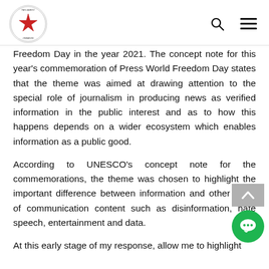Parliament of Zimbabwe header with logo and navigation icons
Freedom Day in the year 2021. The concept note for this year's commemoration of Press World Freedom Day states that the theme was aimed at drawing attention to the special role of journalism in producing news as verified information in the public interest and as to how this happens depends on a wider ecosystem which enables information as a public good.
According to UNESCO's concept note for the commemorations, the theme was chosen to highlight the important difference between information and other kinds of communication content such as disinformation, hate speech, entertainment and data.
At this early stage of my response, allow me to highlight